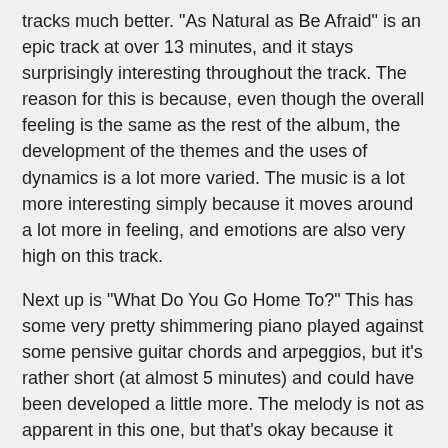tracks much better. "As Natural as Be Afraid" is an epic track at over 13 minutes, and it stays surprisingly interesting throughout the track. The reason for this is because, even though the overall feeling is the same as the rest of the album, the development of the themes and the uses of dynamics is a lot more varied. The music is a lot more interesting simply because it moves around a lot more in feeling, and emotions are also very high on this track.
Next up is "What Do You Go Home To?" This has some very pretty shimmering piano played against some pensive guitar chords and arpeggios, but it's rather short (at almost 5 minutes) and could have been developed a little more. The melody is not as apparent in this one, but that's okay because it does have a lot of atmosphere. I would have liked this one to have been longer with more development. "Catastrophe and the Cure" is a longer track, but is too typical sounding as far as post rock goes. The percussion is too clunky sounding to me. The theme is a little repetitive and the layering is very thick in the louder sections. "So Long, Lonesome" is short at under 4 minutes, and, while it is a quiet track, it lacks in development, which hurts it's effectiveness in the overall picture. It does bring a little hope to the dark tones, but not enough to bring the entire package above the same-ness of tone. When percussion joins for a short time at the end of the track, it seems nice, but that clunkiness is there again.
Overall, this one holds my interest better than some of the other